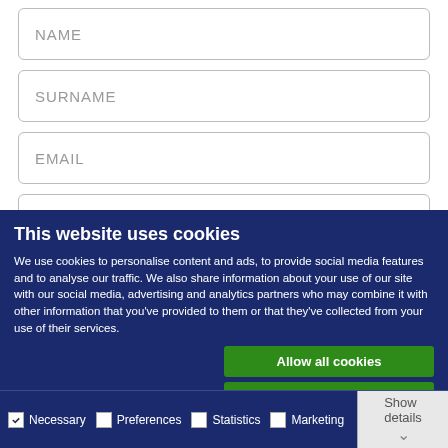NAME
SURNAME
EMAIL
TELEPHONE
This website uses cookies
We use cookies to personalise content and ads, to provide social media features and to analyse our traffic. We also share information about your use of our site with our social media, advertising and analytics partners who may combine it with other information that you've provided to them or that they've collected from your use of their services.
Allow all cookies
Only selected cookies
Use necessary cookies only
Necessary  Preferences  Statistics  Marketing  Show details